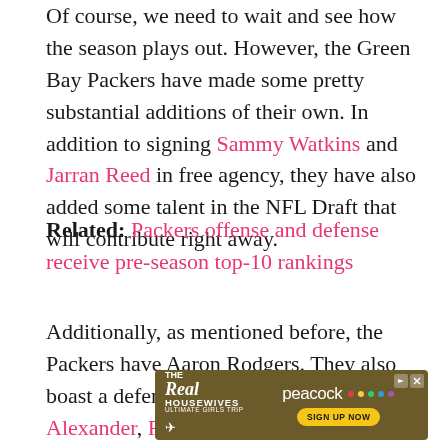Of course, we need to wait and see how the season plays out. However, the Green Bay Packers have made some pretty substantial additions of their own. In addition to signing Sammy Watkins and Jarran Reed in free agency, they have also added some talent in the NFL Draft that will contribute right away.
Related: Packers offense and defense receive pre-season top-10 rankings
Additionally, as mentioned before, the Packers have Aaron Rodgers. They also boast a defense that returns stars like Jaire Alexander, Rasul Douglas, Rashan Gary, and De'Vondre Campbell.
[Figure (other): Advertisement for The Real Housewives Ultimate Girls Trip on Peacock — Sign Up Now button in yellow pill shape, dark golden/brown textured background with airplane icon]